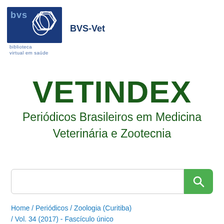[Figure (logo): BVS (Biblioteca Virtual em Saúde) logo — dark blue square with white geometric hexagon and leaf shapes, text 'bvs' in top left, 'biblioteca virtual em saúde' below]
BVS-Vet
VETINDEX
Periódicos Brasileiros em Medicina Veterinária e Zootecnia
[Figure (screenshot): Search bar with text input field and green search button with magnifying glass icon]
Home / Periódicos / Zoologia (Curitiba) / Vol. 34 (2017) - Fascículo único